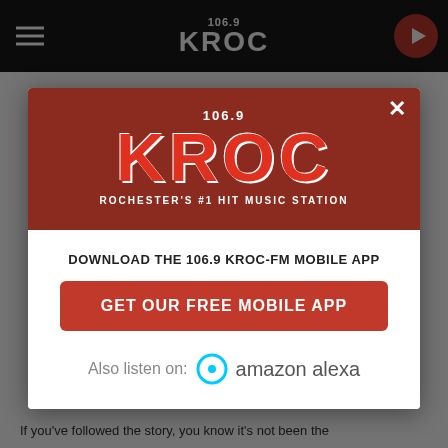[Figure (screenshot): 106.9 KROC radio station website with a modal popup overlay showing the station logo, a download prompt for the mobile app, and an Amazon Alexa listen option]
106.9 KROC
ROCHESTER'S #1 HIT MUSIC STATION
DOWNLOAD THE 106.9 KROC-FM MOBILE APP
GET OUR FREE MOBILE APP
Also listen on:  amazon alexa
If you've followed the story, you know it's not been the